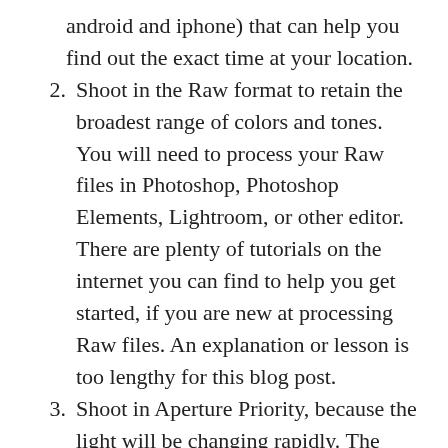android and iphone) that can help you find out the exact time at your location.
Shoot in the Raw format to retain the broadest range of colors and tones. You will need to process your Raw files in Photoshop, Photoshop Elements, Lightroom, or other editor. There are plenty of tutorials on the internet you can find to help you get started, if you are new at processing Raw files. An explanation or lesson is too lengthy for this blog post.
Shoot in Aperture Priority, because the light will be changing rapidly. The sharpest part of the lens is usually two or three stops from wide open, I recommend starting there. F/5.0 – f/8 in this range, will also work well. Or, for more drama, try stopping your